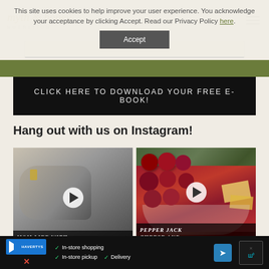This site uses cookies to help improve your user experience. You acknowledge your acceptance by clicking Accept. Read our Privacy Policy here.
[Figure (screenshot): Accept button for cookie consent banner]
myth & honey NUTRITION
[Figure (screenshot): Black banner: CLICK HERE TO DOWNLOAD YOUR FREE E-BOOK!]
Hang out with us on Instagram!
[Figure (photo): Instagram post: woman in gray top with earrings, play button, caption: MOM LIFE WITH DIABETES]
[Figure (photo): Instagram post: Pepper Jack cheese and grapes with play button, caption: PEPPER JACK CHEESE AND GRAPE SKEWERS]
[Figure (screenshot): Ad footer: Havertys - In-store shopping, In-store pickup, Delivery]